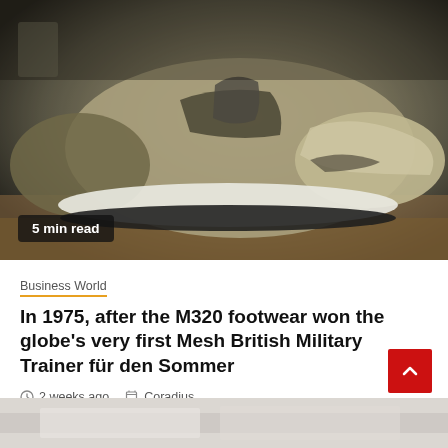[Figure (photo): Close-up photo of an olive/khaki colored suede athletic sneaker with white sole, displayed on a wooden surface with dark bokeh background. A '5 min read' badge overlays the bottom-left of the image.]
Business World
In 1975, after the M320 footwear won the globe's very first Mesh British Military Trainer für den Sommer
2 weeks ago  Coradius